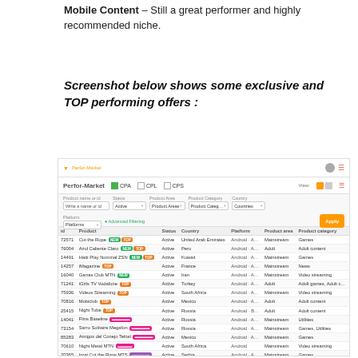Mobile Content – Still a great performer and highly recommended niche.
Screenshot below shows some exclusive and TOP performing offers :
[Figure (screenshot): Screenshot of Perfor-Market affiliate dashboard showing a table of mobile content offers with columns: id, Product, Status, Country, Platform, Product area, Product category. Filters shown: CPA, CPL, CPS checkboxes; Status: Active; Platform; Advanced Filtering; Apply button. Products listed include Cut the Rope, Azul Caliente Claro, Hatti Play Nominal ZSN, iMagazine, Garras Club MTN, iGirls TV Vodafone, Videos Streaming, Mobiclub, Night Tube, Flins Baseline, Sarro Solitaire Megafon, Amigos del Conejo Telcel, Night Metal MTN, Igraj Cut the Rope MTS, Speed Booster Sigtel, Video Life, Pula Pula, Toto Sest TM.]